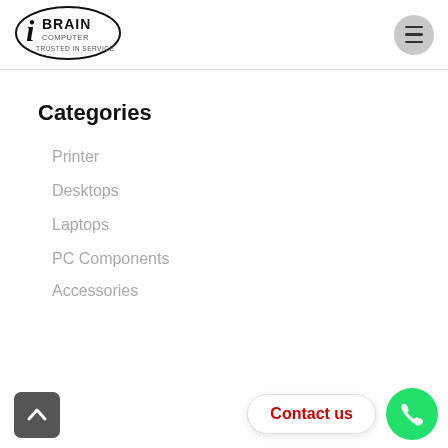[Figure (logo): iBrain Computer – Trusted in Service logo with oval border and stylized 'i' letter]
Categories
Printer
Desktops
Laptops
PC Components
Accessories
Contact us